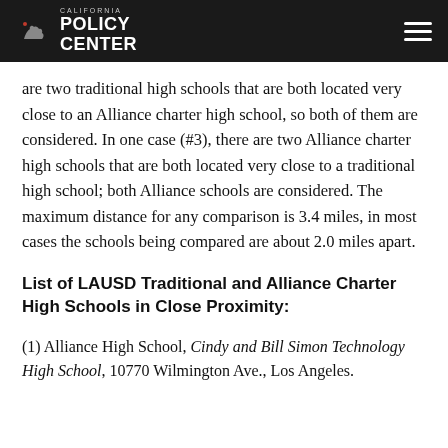California Policy Center
are two traditional high schools that are both located very close to an Alliance charter high school, so both of them are considered. In one case (#3), there are two Alliance charter high schools that are both located very close to a traditional high school; both Alliance schools are considered. The maximum distance for any comparison is 3.4 miles, in most cases the schools being compared are about 2.0 miles apart.
List of LAUSD Traditional and Alliance Charter High Schools in Close Proximity:
(1) Alliance High School, Cindy and Bill Simon Technology High School, 10770 Wilmington Ave., Los Angeles.